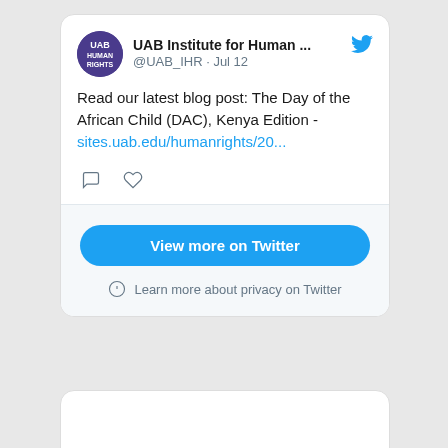[Figure (screenshot): Embedded Twitter/X widget showing a tweet from UAB Institute for Human Rights (@UAB_IHR) dated Jul 12. Tweet text: 'Read our latest blog post: The Day of the African Child (DAC), Kenya Edition - sites.uab.edu/humanrights/20...' with comment and like icons, and a 'View more on Twitter' button and 'Learn more about privacy on Twitter' footer.]